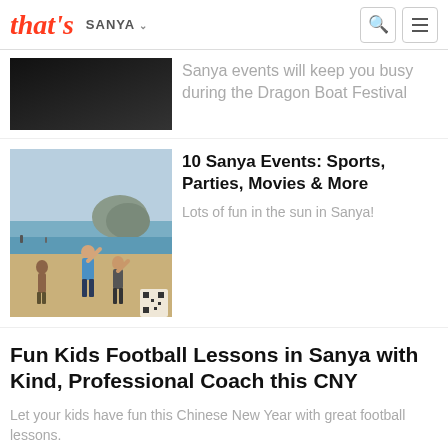that's SANYA
Sanya events will keep you busy during the Dragon Boat Festival
[Figure (photo): Beach scene with people playing frisbee on sandy beach with ocean and rocky headland in background]
10 Sanya Events: Sports, Parties, Movies & More
Lots of fun in the sun in Sanya!
Fun Kids Football Lessons in Sanya with Kind, Professional Coach this CNY
Let your kids have fun this Chinese New Year with great football lessons.
11 Free & Cool Events in Sanya: Workshops, Volunteering & More
Have a ton of easy fun this weekend!